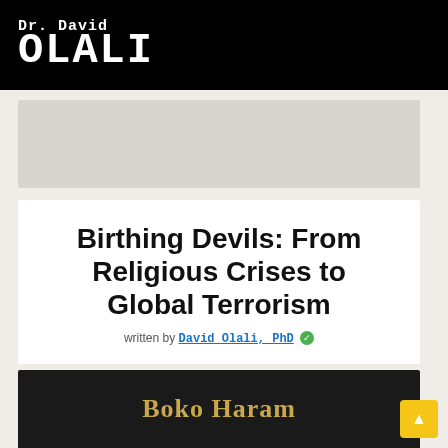Dr. David OLALI
[Figure (other): Gray advertisement placeholder box]
Birthing Devils: From Religious Crises to Global Terrorism
written by David Olali, PhD ✓
[Figure (photo): Book cover showing 'Boko Haram' text in gold serif font on dark background]